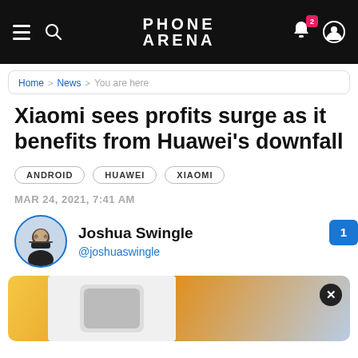PHONE ARENA
Home > News > You are here
Xiaomi sees profits surge as it benefits from Huawei's downfall
ANDROID
HUAWEI
XIAOMI
MAR 24, 2021, 7:41 AM
Joshua Swingle
@joshuaswingle
[Figure (photo): Article header image with yellow/gold and blue background, showing a smartphone, with a close button overlay]